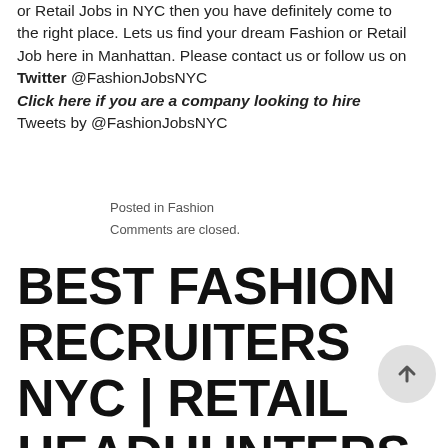or Retail Jobs in NYC then you have definitely come to the right place. Lets us find your dream Fashion or Retail Job here in Manhattan. Please contact us or follow us on Twitter @FashionJobsNYC Click here if you are a company looking to hire Tweets by @FashionJobsNYC
Posted in Fashion
Comments are closed.
BEST FASHION RECRUITERS NYC | RETAIL HEADHUNTERS NYC